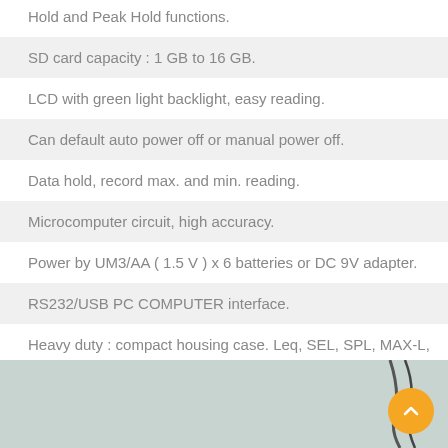Hold and Peak Hold functions.
SD card capacity : 1 GB to 16 GB.
LCD with green light backlight, easy reading.
Can default auto power off or manual power off.
Data hold, record max. and min. reading.
Microcomputer circuit, high accuracy.
Power by UM3/AA ( 1.5 V ) x 6 batteries or DC 9V adapter.
RS232/USB PC COMPUTER interface.
Heavy duty : compact housing case. Leq, SEL, SPL, MAX-L, and MIN-L measurements.
[Figure (photo): Partial view of a device or equipment, light gray/teal background with a cable visible on the right side. An orange scroll-to-top button overlays the bottom right corner.]